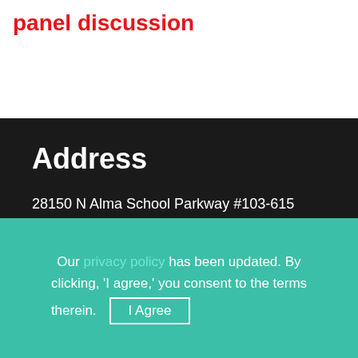panel discussion
Address
28150 N Alma School Parkway #103-615
Scottsdale, AZ 85262
Phone: (480) 399-8489
Toll Free: 1-800-589-4733
[Figure (infographic): Red speech bubble callout with text CHECK OUT OUR VIDEOS AND BOOKS!]
Our privacy policy has been updated. By clicking, 'I agree,' you consent to the terms therein.
I Agree